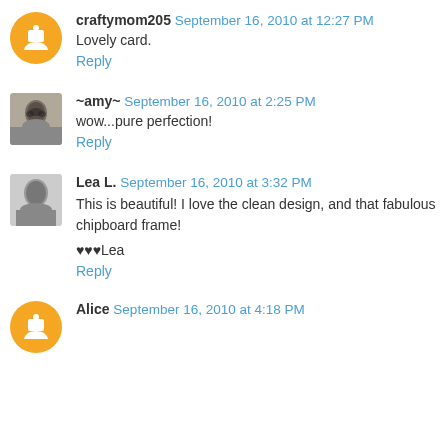craftymom205  September 16, 2010 at 12:27 PM
Lovely card.
Reply
~amy~  September 16, 2010 at 2:25 PM
wow...pure perfection!
Reply
Lea L.  September 16, 2010 at 3:32 PM
This is beautiful! I love the clean design, and that fabulous chipboard frame!
♥♥♥Lea
Reply
Alice  September 16, 2010 at 4:18 PM